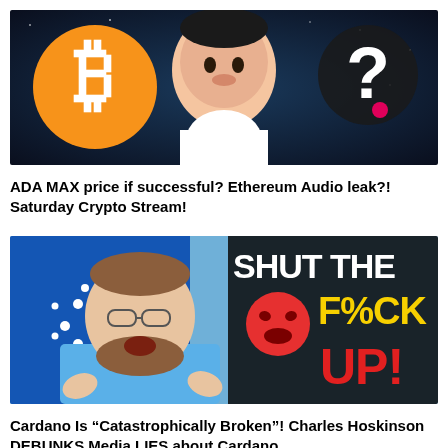[Figure (screenshot): YouTube thumbnail showing Bitcoin logo (orange circle with B), a man's face cutout (Asian man, serious expression), and a question mark symbol on a dark space background]
ADA MAX price if successful? Ethereum Audio leak?! Saturday Crypto Stream!
[Figure (screenshot): YouTube thumbnail showing a bearded man (Charles Hoskinson) in a blue shirt, Cardano logo, angry emoji face, and bold text reading 'SHUT THE F%CK UP!' in yellow and red letters on black]
Cardano Is "Catastrophically Broken"! Charles Hoskinson DEBUNKS Media LIES about Cardano